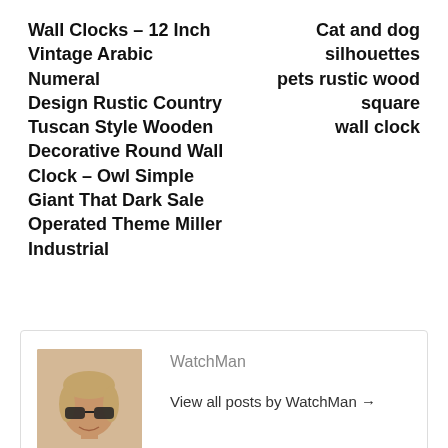Wall Clocks – 12 Inch Vintage Arabic Numeral Design Rustic Country Tuscan Style Wooden Decorative Round Wall Clock – Owl Simple Giant That Dark Sale Operated Theme Miller Industrial
Cat and dog silhouettes pets rustic wood square wall clock
[Figure (photo): Photo of a person (WatchMan author) wearing sunglasses and a blue shirt]
WatchMan
View all posts by WatchMan →